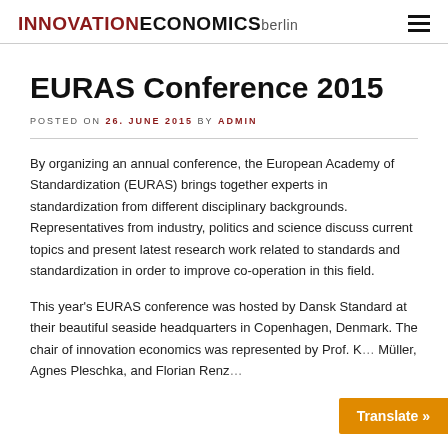INNOVATIONECONOMICS berlin
EURAS Conference 2015
POSTED ON 26. JUNE 2015 BY ADMIN
By organizing an annual conference, the European Academy of Standardization (EURAS) brings together experts in standardization from different disciplinary backgrounds. Representatives from industry, politics and science discuss current topics and present latest research work related to standards and standardization in order to improve co-operation in this field.
This year's EURAS conference was hosted by Dansk Standard at their beautiful seaside headquarters in Copenhagen, Denmark. The chair of innovation economics was represented by Prof. K… Müller, Agnes Pleschka, and Florian Renz…